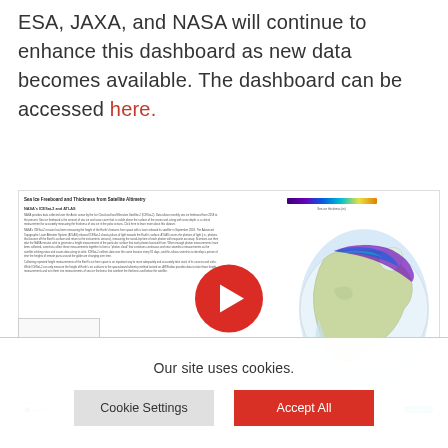ESA, JAXA, and NASA will continue to enhance this dashboard as new data becomes available. The dashboard can be accessed here.
[Figure (screenshot): Screenshot of a web page showing 'Sea Ice Freeboard and Thickness from Satellite Altimetry' document with NASA ICESat-2 and ATLAS text sections on the left, and an interactive globe visualization showing Arctic sea ice data on the right. A large red YouTube play button overlay is centered on the screenshot. At the bottom of the screenshot is a timeline/date bar showing 'Apr 2021' and a teal play button.]
Our site uses cookies.
Cookie Settings
Accept All